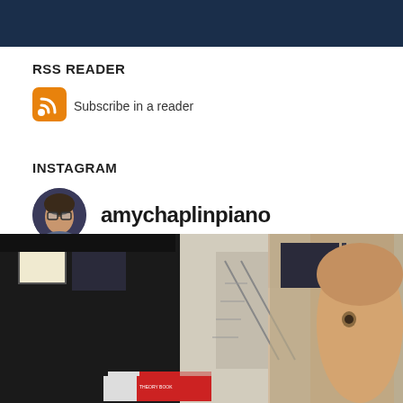[Figure (screenshot): Dark navy blue header bar at top of webpage]
RSS READER
[Figure (logo): Orange RSS feed icon]
Subscribe in a reader
INSTAGRAM
[Figure (photo): Circular profile photo of a woman with short hair and glasses]
amychaplinpiano
[Figure (photo): Instagram photo showing a child in a room with a piano, framed certificates on walls, and a staircase. The child is holding red and white books.]